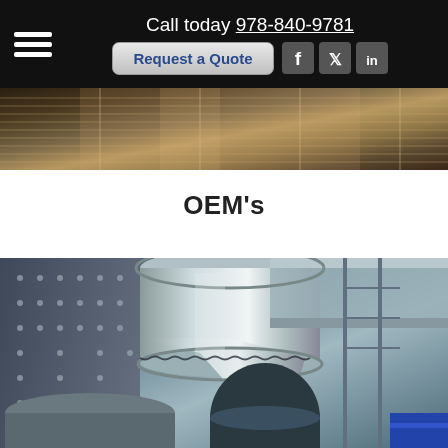Call today 978-840-9781 | Request a Quote | Facebook | Twitter | LinkedIn
[Figure (photo): Industrial machinery photo — angled metal grating or ribbed industrial surface, dark tones]
OEM's
[Figure (photo): Large industrial HVAC or sheet metal ductwork, showing large cylindrical ducts, flanged connections, scaffolding, and industrial equipment in steel/silver tones]